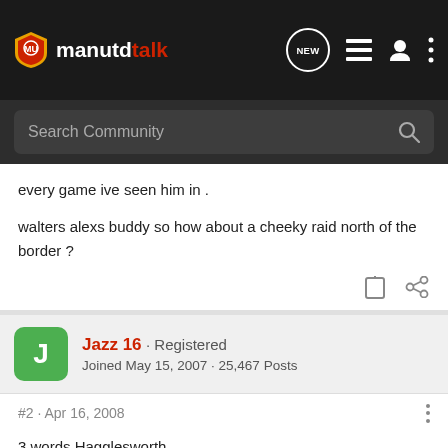manutdtalk — navigation bar with logo, NEW button, list icon, user icon, more icon
Search Community
every game ive seen him in .
walters alexs buddy so how about a cheeky raid north of the border ?
Jazz 16 · Registered
Joined May 15, 2007 · 25,467 Posts
#2 · Apr 16, 2008
3 words Hagglesworth.......
Edwin, Foster, PIG